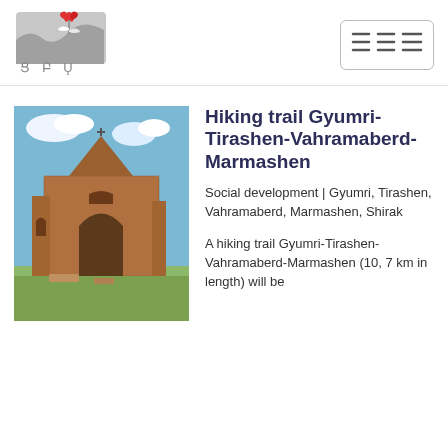[Figure (logo): Organization logo with stylized plant/flower in red and grey tones, with Armenian script characters below]
[Figure (other): Three-column hamburger menu icon button with border]
[Figure (photo): Photo of ancient Armenian stone church ruins with arched doorways against a blue sky with clouds and green landscape]
Hiking trail Gyumri-Tirashen-Vahramaberd-Marmashen
Social development | Gyumri, Tirashen, Vahramaberd, Marmashen, Shirak
A hiking trail Gyumri-Tirashen-Vahramaberd-Marmashen (10, 7 km in length) will be